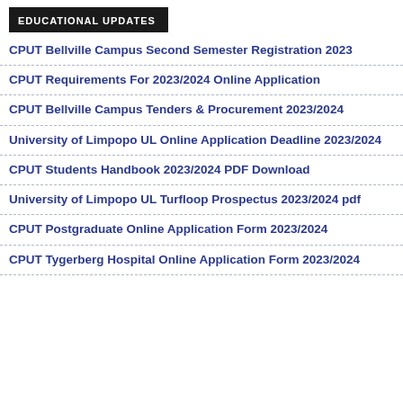EDUCATIONAL UPDATES
CPUT Bellville Campus Second Semester Registration 2023
CPUT Requirements For 2023/2024 Online Application
CPUT Bellville Campus Tenders & Procurement 2023/2024
University of Limpopo UL Online Application Deadline 2023/2024
CPUT Students Handbook 2023/2024 PDF Download
University of Limpopo UL Turfloop Prospectus 2023/2024 pdf
CPUT Postgraduate Online Application Form 2023/2024
CPUT Tygerberg Hospital Online Application Form 2023/2024